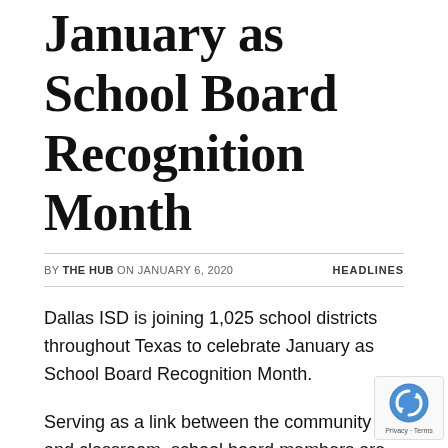January as School Board Recognition Month
BY THE HUB ON JANUARY 6, 2020   HEADLINES
Dallas ISD is joining 1,025 school districts throughout Texas to celebrate January as School Board Recognition Month.
Serving as a link between the community and classroom, school board members are elected to serve as unpaid volunteers who establish the policies that provide the framework for Dallas ISD schools. This year's theme for School Board Recognition